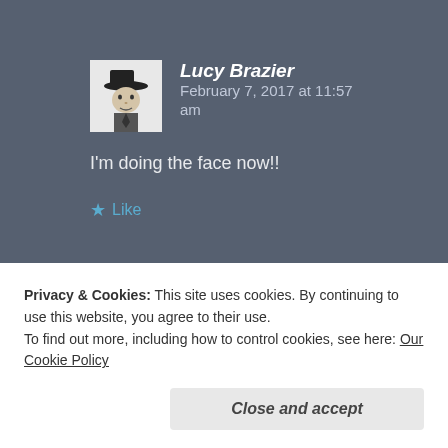Lucy Brazier  February 7, 2017 at 11:57 am
I'm doing the face now!!
★ Like
Privacy & Cookies: This site uses cookies. By continuing to use this website, you agree to their use.
To find out more, including how to control cookies, see here: Our Cookie Policy
Close and accept